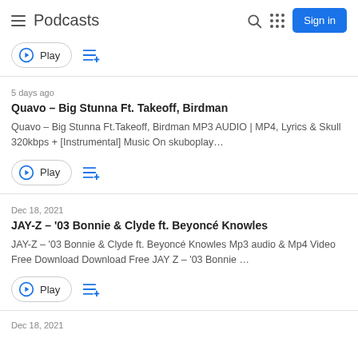Podcasts
Play
5 days ago
Quavo – Big Stunna Ft. Takeoff, Birdman
Quavo – Big Stunna Ft.Takeoff, Birdman MP3 AUDIO | MP4, Lyrics & Skull 320kbps + [Instrumental] Music On skuboplay…
Play
Dec 18, 2021
JAY-Z – '03 Bonnie & Clyde ft. Beyoncé Knowles
JAY-Z – '03 Bonnie & Clyde ft. Beyoncé Knowles Mp3 audio & Mp4 Video Free Download Download Free JAY Z – '03 Bonnie …
Play
Dec 18, 2021